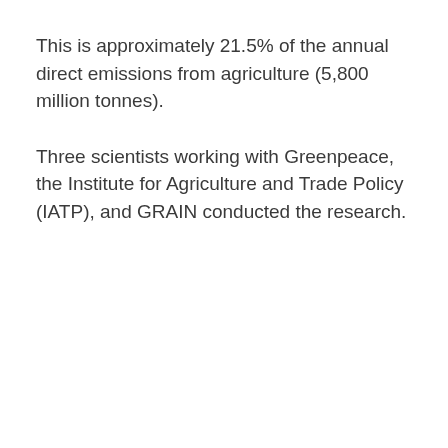This is approximately 21.5% of the annual direct emissions from agriculture (5,800 million tonnes).
Three scientists working with Greenpeace, the Institute for Agriculture and Trade Policy (IATP), and GRAIN conducted the research.